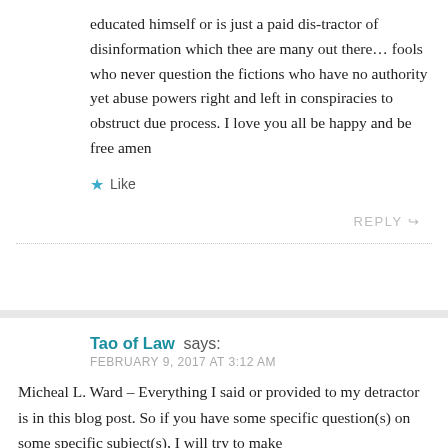educated himself or is just a paid dis-tractor of disinformation which thee are many out there… fools who never question the fictions who have no authority yet abuse powers right and left in conspiracies to obstruct due process. I love you all be happy and be free amen
Like
REPLY
Tao of Law says: FEBRUARY 9, 2017 AT 3:12 AM
Micheal L. Ward – Everything I said or provided to my detractor is in this blog post. So if you have some specific question(s) on some specific subject(s), I will try to make